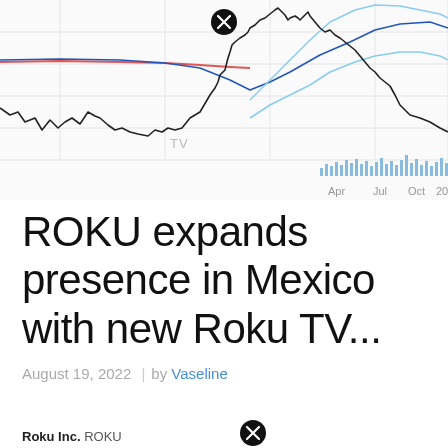[Figure (continuous-plot): Stock price chart for ROKU showing price movement with moving average lines (red, dark blue, light blue) over time from early 2022 through late 2022, with volume bars at bottom right. X-axis shows Apr, Jul, Oct 2022.]
ROKU expands presence in Mexico with new Roku TV...
August 19, 2022  |  by Vaseline
Roku Inc. ROKU...